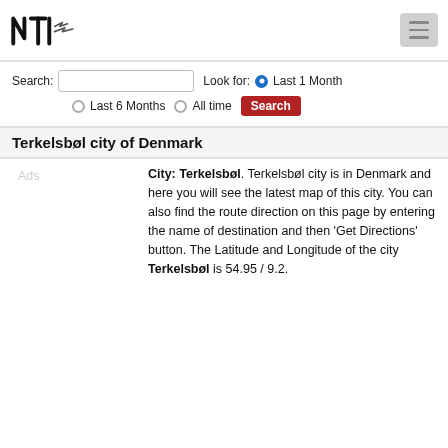NTI logo and navigation menu
Search: [input] Look for: (●) Last 1 Month (○) Last 6 Months (○) All time [Search]
Terkelsbøl city of Denmark
Ads
City: Terkelsbøl. Terkelsbøl city is in Denmark and here you will see the latest map of this city. You can also find the route direction on this page by entering the name of destination and then 'Get Directions' button. The Latitude and Longitude of the city Terkelsbøl is 54.95 / 9.2.